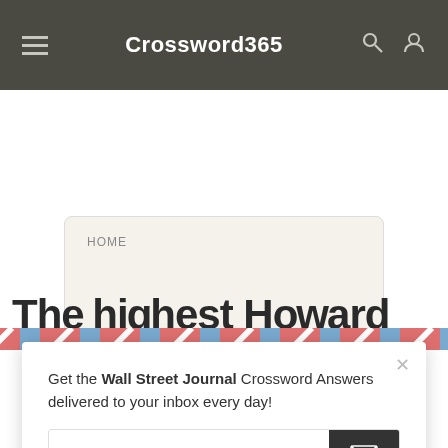Crossword365
HOME / WALL STREET JOURNAL / DECEMBER 16, 2017
The highest Hom...
Get the Wall Street Journal Crossword Answers delivered to your inbox every day!
Your E-Mail Address